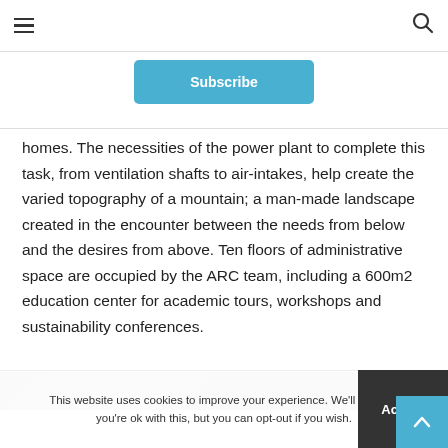☰ [hamburger menu] [search icon]
Subscribe
homes. The necessities of the power plant to complete this task, from ventilation shafts to air-intakes, help create the varied topography of a mountain; a man-made landscape created in the encounter between the needs from below and the desires from above. Ten floors of administrative space are occupied by the ARC team, including a 600m2 education center for academic tours, workshops and sustainability conferences.
[Figure (photo): Partial view of a building or architectural photograph, shown as a dark strip at the bottom of the text area.]
This website uses cookies to improve your experience. We'll assume you're ok with this, but you can opt-out if you wish. Accept